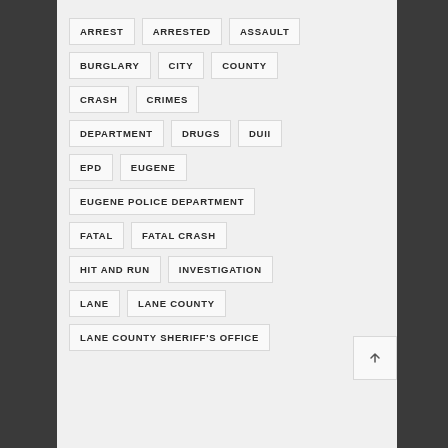ARREST
ARRESTED
ASSAULT
BURGLARY
CITY
COUNTY
CRASH
CRIMES
DEPARTMENT
DRUGS
DUII
EPD
EUGENE
EUGENE POLICE DEPARTMENT
FATAL
FATAL CRASH
HIT AND RUN
INVESTIGATION
LANE
LANE COUNTY
LANE COUNTY SHERIFF'S OFFICE